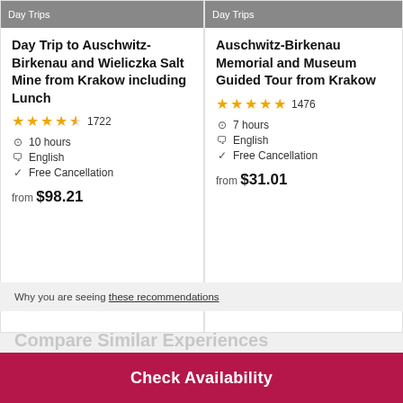Day Trips
Day Trip to Auschwitz-Birkenau and Wieliczka Salt Mine from Krakow including Lunch
★★★★½ 1722
10 hours
English
Free Cancellation
from $98.21
Day Trips
Auschwitz-Birkenau Memorial and Museum Guided Tour from Krakow
★★★★★ 1476
7 hours
English
Free Cancellation
from $31.01
Why you are seeing these recommendations
Compare Similar Experiences
Check Availability